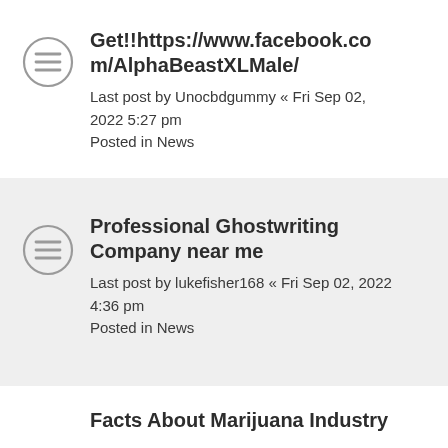Get!!https://www.facebook.com/AlphaBeastXLMale/
Last post by Unocbdgummy « Fri Sep 02, 2022 5:27 pm
Posted in News
Professional Ghostwriting Company near me
Last post by lukefisher168 « Fri Sep 02, 2022 4:36 pm
Posted in News
Facts About Marijuana Industry